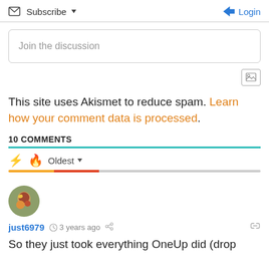Subscribe  Login
Join the discussion
This site uses Akismet to reduce spam. Learn how your comment data is processed.
10 COMMENTS
Oldest
just6979  3 years ago
So they just took everything OneUp did (drop